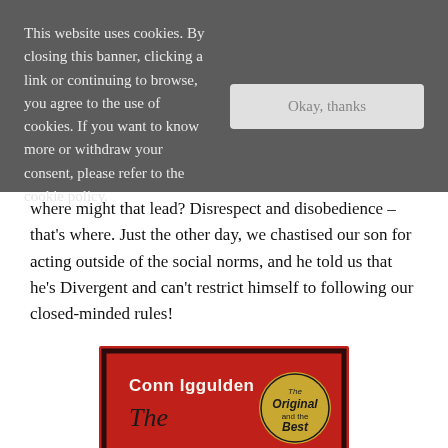This website uses cookies. By closing this banner, clicking a link or continuing to browse, you agree to the use of cookies. If you want to know more or withdraw your consent, please refer to the cookie policy.
where might that lead? Disrespect and disobedience – that's where. Just the other day, we chastised our son for acting outside of the social norms, and he told us that he's Divergent and can't restrict himself to following our closed-minded rules!
[Figure (photo): Book cover of 'The Dangerous Book' by Conn Iggulden, showing red background with gold/dark lettering and a circular badge reading 'The Original and the Best']